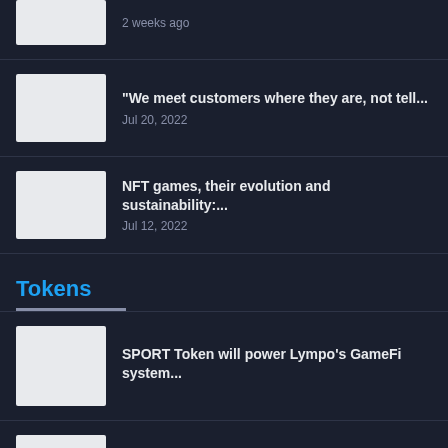2 weeks ago
"We meet customers where they are, not tell...
Jul 20, 2022
NFT games, their evolution and sustainability:...
Jul 12, 2022
Tokens
SPORT Token will power Lympo's GameFi system...
Blockchain giant Wemade enters the stablecoin market...